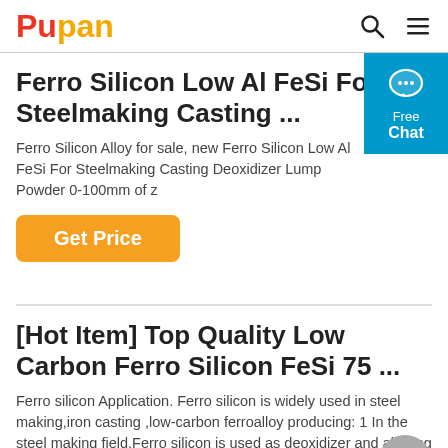Pupan
Ferro Silicon Low Al FeSi For Steelmaking Casting ...
Ferro Silicon Alloy for sale, new Ferro Silicon Low Al FeSi For Steelmaking Casting Deoxidizer Lump Powder 0-100mm of z
Get Price
[Hot Item] Top Quality Low Carbon Ferro Silicon FeSi 75 ...
Ferro silicon Application. Ferro silicon is widely used in steel making,iron casting ,low-carbon ferroalloy producing: 1 In the steel making field,Ferro silicon is used as deoxidizer and alloying agent to precipit and diffuse ding a certain amount